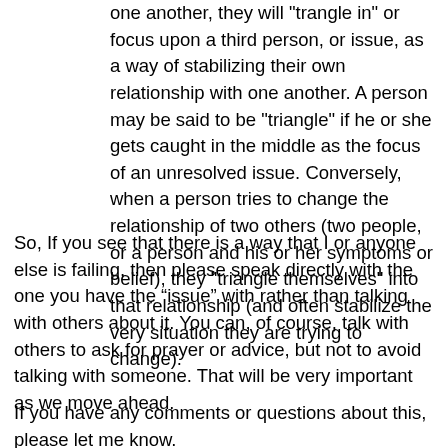one another, they will "trangle in" or focus upon a third person, or issue, as a way of stabilizing their own relationship with one another. A person may be said to be "triangle" if he or she gets caught in the middle as the focus of an unresolved issue. Conversely, when a person tries to change the relationship of two others (two people, or a person and his or her symptoms or belief), they "triangle themselves" into that relationship (and often stabilize the very situation they are trying to change).
So, If you see that there is a way that I or anyone else is failing, then please speak directly with the one you have the “issue” with rather than talking with others about it. You can, of course, talk with others to ask for prayer or advice, but not to avoid talking with someone. That will be very important as we move ahead.
If you have any comments or questions about this, please let me know.